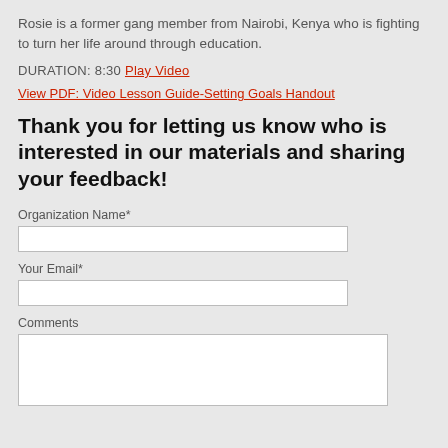Rosie is a former gang member from Nairobi, Kenya who is fighting to turn her life around through education.
DURATION: 8:30 Play Video
View PDF: Video Lesson Guide-Setting Goals Handout
Thank you for letting us know who is interested in our materials and sharing your feedback!
Organization Name*
Your Email*
Comments